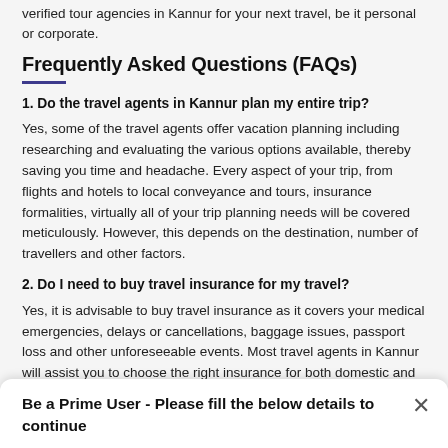verified tour agencies in Kannur for your next travel, be it personal or corporate.
Frequently Asked Questions (FAQs)
1. Do the travel agents in Kannur plan my entire trip?
Yes, some of the travel agents offer vacation planning including researching and evaluating the various options available, thereby saving you time and headache. Every aspect of your trip, from flights and hotels to local conveyance and tours, insurance formalities, virtually all of your trip planning needs will be covered meticulously. However, this depends on the destination, number of travellers and other factors.
2. Do I need to buy travel insurance for my travel?
Yes, it is advisable to buy travel insurance as it covers your medical emergencies, delays or cancellations, baggage issues, passport loss and other unforeseeable events. Most travel agents in Kannur will assist you to choose the right insurance for both domestic and international travel.
Be a Prime User - Please fill the below details to continue